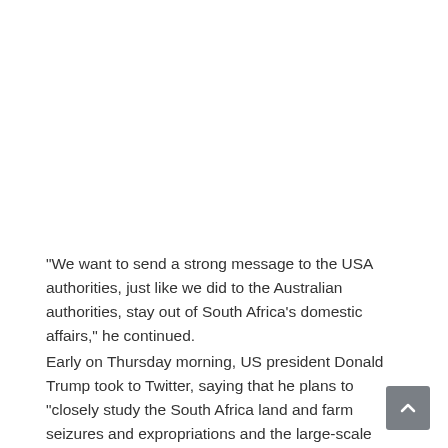“We want to send a strong message to the USA authorities, just like we did to the Australian authorities, stay out of South Africa’s domestic affairs,” he continued.
Early on Thursday morning, US president Donald Trump took to Twitter, saying that he plans to “closely study the South Africa land and farm seizures and expropriations and the large-scale killing of farmers.”